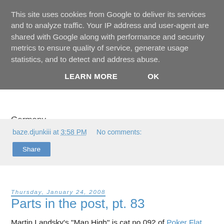This site uses cookies from Google to deliver its services and to analyze traffic. Your IP address and user-agent are shared with Google along with performance and security metrics to ensure quality of service, generate usage statistics, and to detect and address abuse.
LEARN MORE   OK
Germany
baze.djunkiii at 3:58 PM   No comments:
Share
Thursday, January 24, 2008
Parts in the post, pt. 83
Martin Landsky's "Man High" is cat.no 092 of Poker Flat Recordings, a stunning three tracker that perfectly combines a typical jack-attitude and the deep, hypnotic approach of Minimal Techno. Especially the title track "Man High" is an